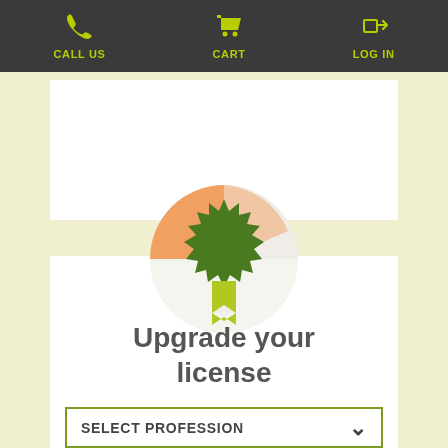CALL US   CART   LOG IN
[Figure (illustration): Award badge / certificate icon: a circular badge with orange and white sections, topped with a dark green spiky star/rosette shape, with a lime-green ribbon hanging below it]
Upgrade your license
SELECT PROFESSION